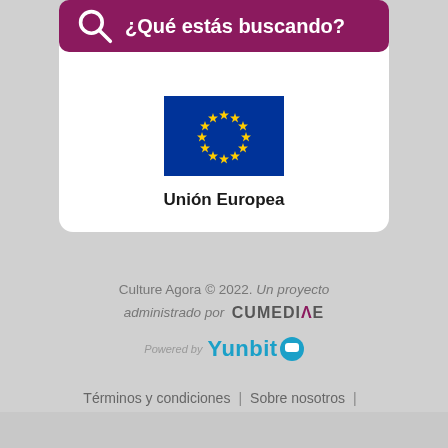[Figure (screenshot): Search bar with magnifying glass icon and text '¿Qué estás buscando?' on a dark magenta/purple background]
[Figure (logo): EU flag — blue background with circle of 12 yellow stars]
Unión Europea
Culture Agora © 2022. Un proyecto administrado por CUMEDIAE
Powered by Yunbit
Términos y condiciones | Sobre nosotros | Publicidad | Contacto